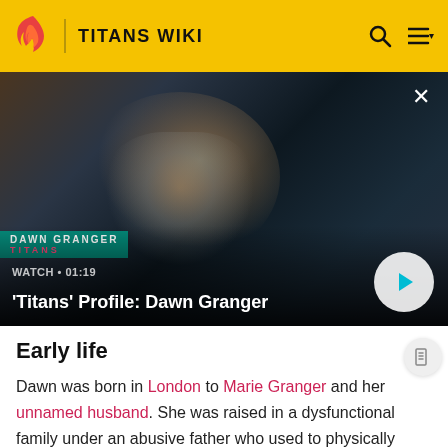TITANS WIKI
[Figure (screenshot): Video thumbnail showing a blonde woman in a dark scene. Overlay text reads: WATCH • 01:19 / 'Titans' Profile: Dawn Granger. A play button is visible on the right side. A close X button is in the top-right corner.]
Early life
Dawn was born in London to Marie Granger and her unnamed husband. She was raised in a dysfunctional family under an abusive father who used to physically abuse them on multiple occasions. Over the years, Dawn